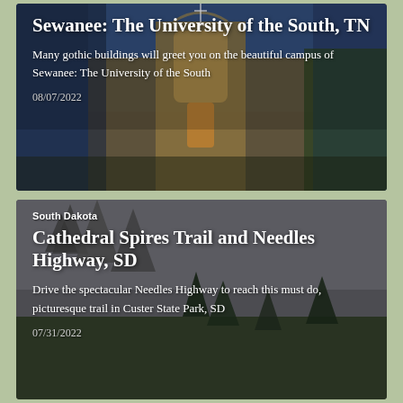[Figure (photo): Gothic university building (chapel/cathedral) with ornate stone facade, arched windows, set against a blue sky with green trees. Text overlay with article title, description, and date.]
Sewanee: The University of the South, TN
Many gothic buildings will greet you on the beautiful campus of Sewanee: The University of the South
08/07/2022
[Figure (photo): Rocky spire formations and pine trees in a dramatic overcast landscape in South Dakota. Text overlay with location label, title, description, and date.]
South Dakota
Cathedral Spires Trail and Needles Highway, SD
Drive the spectacular Needles Highway to reach this must do, picturesque trail in Custer State Park, SD
07/31/2022